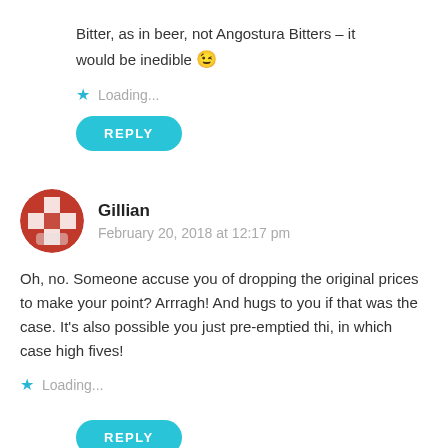Bitter, as in beer, not Angostura Bitters – it would be inedible 😉
Loading...
REPLY
Gillian
February 20, 2018 at 12:17 pm
Oh, no. Someone accuse you of dropping the original prices to make your point? Arrragh! And hugs to you if that was the case. It's also possible you just pre-emptied thi, in which case high fives!
Loading...
REPLY